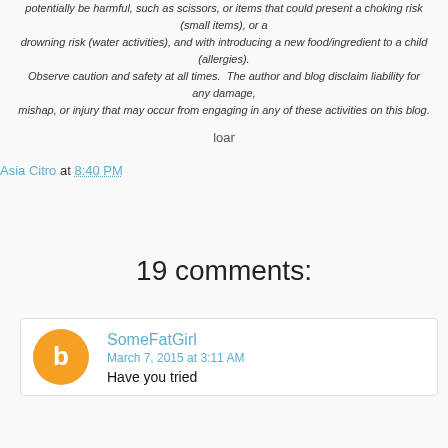potentially be harmful, such as scissors, or items that could present a choking risk (small items), or a drowning risk (water activities), and with introducing a new food/ingredient to a child (allergies). Observe caution and safety at all times. The author and blog disclaim liability for any damage, mishap, or injury that may occur from engaging in any of these activities on this blog.
loar
Asia Citro at 8:40 PM
19 comments:
SomeFatGirl
March 7, 2015 at 3:11 AM
Have you tried